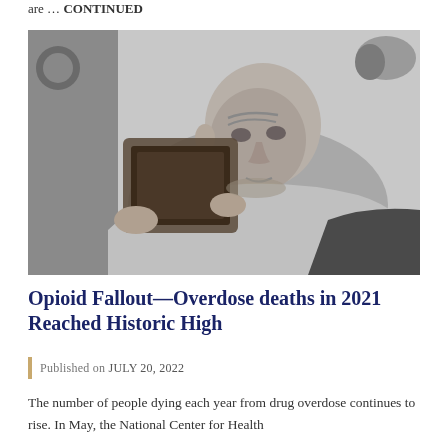are … CONTINUED
[Figure (photo): Black and white photograph of an older man with a heavy build holding and looking at a picture frame, seated indoors]
Opioid Fallout—Overdose deaths in 2021 Reached Historic High
Published on JULY 20, 2022
The number of people dying each year from drug overdose continues to rise. In May, the National Center for Health Statistics (NCHS) released a report showing ...